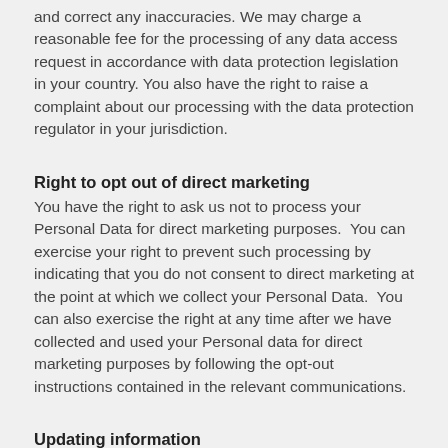and correct any inaccuracies. We may charge a reasonable fee for the processing of any data access request in accordance with data protection legislation in your country. You also have the right to raise a complaint about our processing with the data protection regulator in your jurisdiction.
Right to opt out of direct marketing
You have the right to ask us not to process your Personal Data for direct marketing purposes.  You can exercise your right to prevent such processing by indicating that you do not consent to direct marketing at the point at which we collect your Personal Data.  You can also exercise the right at any time after we have collected and used your Personal data for direct marketing purposes by following the opt-out instructions contained in the relevant communications.
Updating information
We will take reasonable steps to try and guarantee that